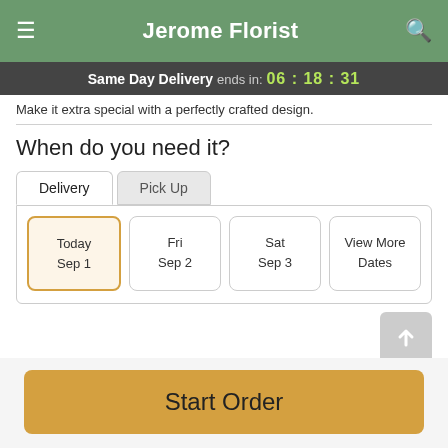Jerome Florist
Same Day Delivery ends in: 06 : 18 : 31
Make it extra special with a perfectly crafted design.
When do you need it?
Delivery | Pick Up
Today Sep 1 | Fri Sep 2 | Sat Sep 3 | View More Dates
Guaranteed SAFE Checkout
Start Order